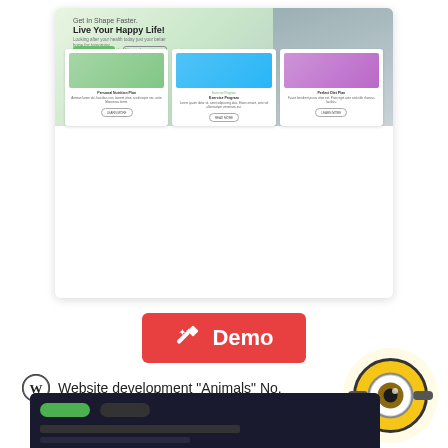[Figure (screenshot): Website screenshot showing a health/fitness website with hero section 'Get In Shape Faster. Live Your Happy Life!' and three service cards: Personal Nutrition Plan, Exercise Program, Perfect Diet Plan]
[Figure (other): Red 'Demo' button with magic wand icon]
Website development "Animals" No.
Price  $346  $171
[Figure (illustration): Minion eye illustration in yellow circle]
[Figure (screenshot): Bottom dark-themed website screenshot preview]